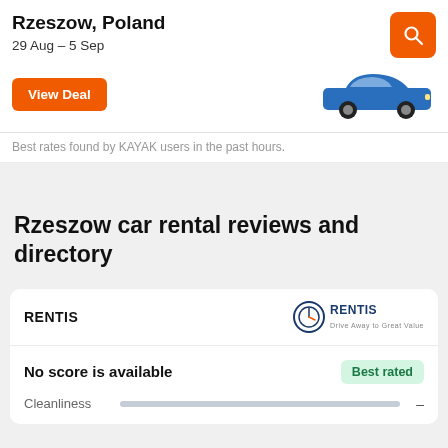Rzeszow, Poland
29 Aug – 5 Sep
[Figure (screenshot): Orange search button with magnifying glass icon]
[Figure (photo): Blue car image (sedan)]
View Deal
Best rates found by KAYAK users in the past hours.
Rzeszow car rental reviews and directory
RENTIS
[Figure (logo): RENTIS logo with circular clock/compass icon]
No score is available
Best rated
Cleanliness  –